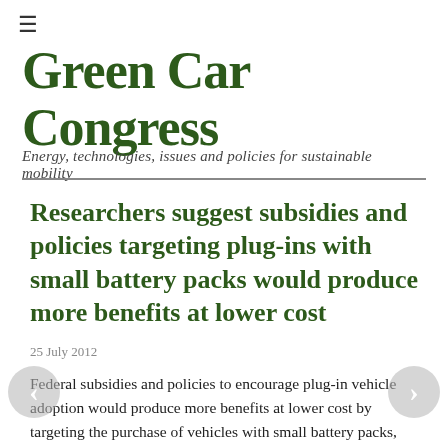≡
Green Car Congress
Energy, technologies, issues and policies for sustainable mobility
Researchers suggest subsidies and policies targeting plug-ins with small battery packs would produce more benefits at lower cost
25 July 2012
Federal subsidies and policies to encourage plug-in vehicle adoption would produce more benefits at lower cost by targeting the purchase of vehicles with small battery packs, according to Jeremy J. Michalek, an associate professor at Carnegie Mellon University and his